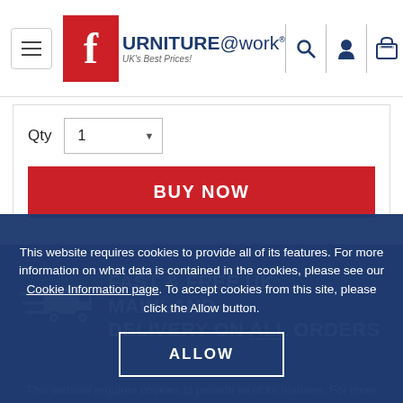[Figure (logo): Furniture@work logo with red F icon and tagline UK's Best Prices!]
Qty  1
[Figure (other): BUY NOW red button]
[Figure (infographic): Fast & Free UK Mainland Delivery on ALL Orders banner with delivery truck icon]
This website requires cookies to provide all of its features. For more information on what data is contained in the cookies, please see our Cookie Information page. To accept cookies from this site, please click the Allow button.
[Figure (other): ALLOW button]